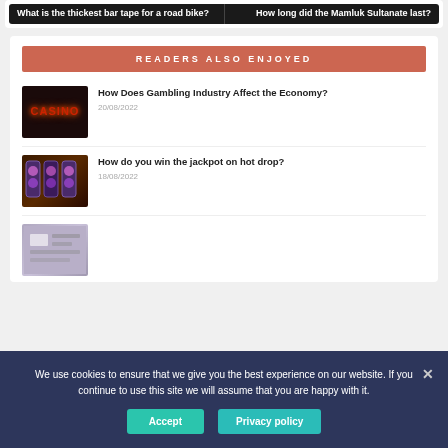What is the thickest bar tape for a road bike?
How long did the Mamluk Sultanate last?
READERS ALSO ENJOYED
How Does Gambling Industry Affect the Economy?
20/08/2022
[Figure (photo): Casino neon sign with red CASINO text]
How do you win the jackpot on hot drop?
18/08/2022
[Figure (photo): Slot machines in a casino]
[Figure (photo): Third article thumbnail image]
We use cookies to ensure that we give you the best experience on our website. If you continue to use this site we will assume that you are happy with it.
Accept
Privacy policy